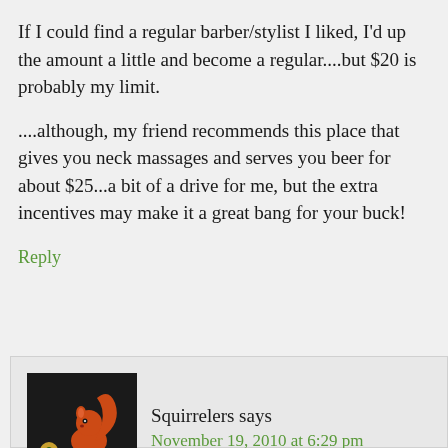If I could find a regular barber/stylist I liked, I'd up the amount a little and become a regular....but $20 is probably my limit.
....although, my friend recommends this place that gives you neck massages and serves you beer for about $25...a bit of a drive for me, but the extra incentives may make it a great bang for your buck!
Reply
Squirrelers says
November 19, 2010 at 6:29 pm
CNC – yeah, that's true about the $15